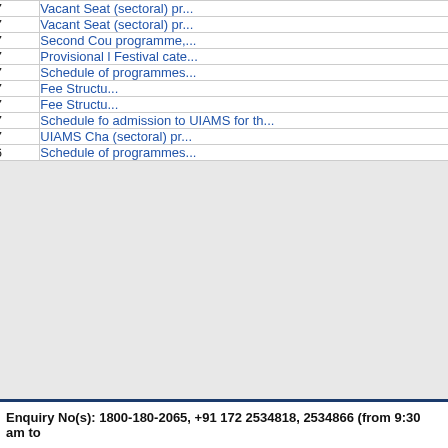| No. | Date | Description |
| --- | --- | --- |
| 31. | 31/07/2017 | Vacant Seat (sectoral) pr... |
| 32. | 26/07/2017 | Vacant Seat (sectoral) pr... |
| 33. | 25/07/2017 | Second Cou programme,... |
| 34. | 25/07/2017 | Provisional l Festival cate... |
| 35. | 30/06/2017 | Schedule of programmes... |
| 36. | 30/06/2017 | Fee Structu... |
| 37. | 30/06/2017 | Fee Structu... |
| 38. | 28/04/2017 | Schedule fo admission to UIAMS for th... |
| 39. | 13/01/2017 | UIAMS Cha (sectoral) pr... |
| 40. | 25/04/2016 | Schedule of programmes... |
Enquiry No(s): 1800-180-2065, +91 172 2534818, 2534866 (from 9:30 am to...